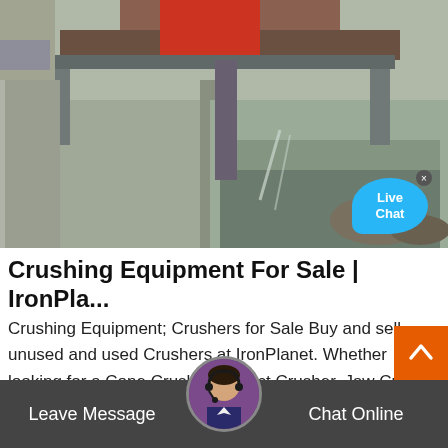[Figure (photo): Industrial crushing/milling equipment at a construction or mining site, showing concrete structures, metal machinery with rollers/drums overhead, gravel and water runoff visible.]
Crushing Equipment For Sale | IronPla...
Crushing Equipment; Crushers for Sale Buy and sell unused and used Crushers at IronPlanet. Whether looking for a Cone Crusher, Impact Crusher, Jaw Crusher or other various type, IronPlanet offers several makes and models that can help efficiently and